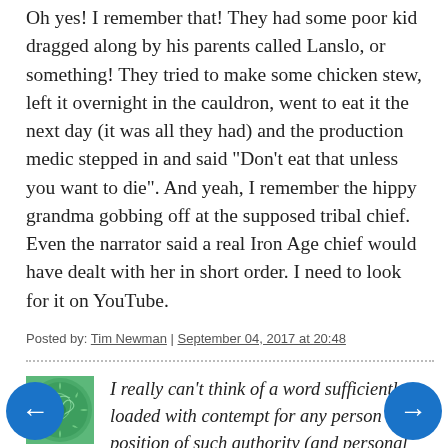Oh yes! I remember that! They had some poor kid dragged along by his parents called Lanslo, or something! They tried to make some chicken stew, left it overnight in the cauldron, went to eat it the next day (it was all they had) and the production medic stepped in and said "Don't eat that unless you want to die". And yeah, I remember the hippy grandma gobbing off at the supposed tribal chief. Even the narrator said a real Iron Age chief would have dealt with her in short order. I need to look for it on YouTube.
Posted by: Tim Newman | September 04, 2017 at 20:48
I really can't think of a word sufficiently loaded with contempt for any person - in a position of such authority (and personal safety) - who would do such a thing.
I'm sorry not to be able to recall where and by whom it was